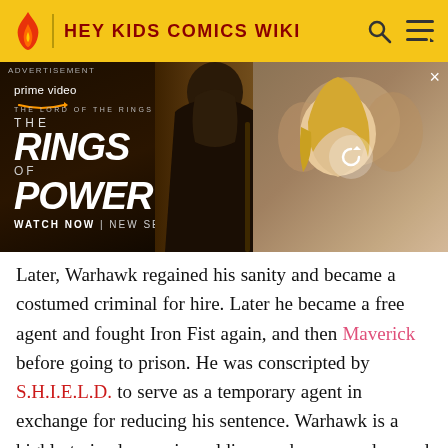HEY KIDS COMICS WIKI
[Figure (screenshot): Amazon Prime Video advertisement for 'The Lord of the Rings: The Rings of Power' new series, showing a hooded figure on the left and a blonde woman with others on the right, with a refresh icon overlay.]
Later, Warhawk regained his sanity and became a costumed criminal for hire. Later he became a free agent and fought Iron Fist again, and then Maverick before going to prison. He was conscripted by S.H.I.E.L.D. to serve as a temporary agent in exchange for reducing his sentence. Warhawk is a highly trained assassin, soldier, marksman, and armed and unarmed combatant. He's also experienced with explosives, electronics, and computers. He has enhanced strength, endurance and steel hard